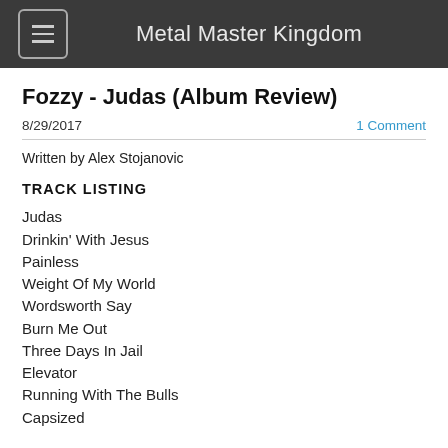Metal Master Kingdom
Fozzy - Judas (Album Review)
8/29/2017   1 Comment
Written by Alex Stojanovic
TRACK LISTING
Judas
Drinkin' With Jesus
Painless
Weight Of My World
Wordsworth Say
Burn Me Out
Three Days In Jail
Elevator
Running With The Bulls
Capsized